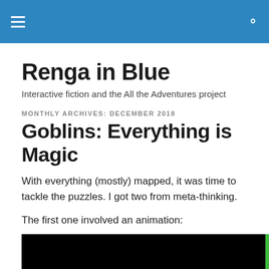Renga in Blue — site header navigation bar
Renga in Blue
Interactive fiction and the All the Adventures project
MONTHLY ARCHIVES: DECEMBER 2018
Goblins: Everything is Magic
With everything (mostly) mapped, it was time to tackle the puzzles. I got two from meta-thinking.
The first one involved an animation:
[Figure (screenshot): A dark/black video thumbnail with a green border on the right side, partially visible at the bottom of the page.]